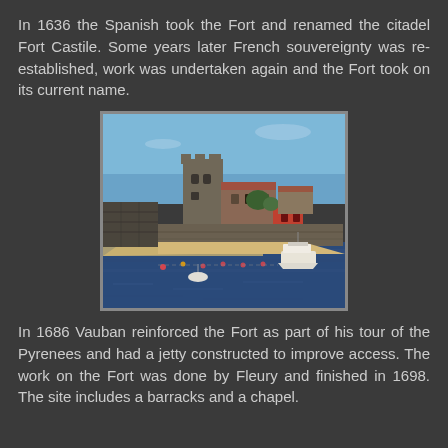In 1636 the Spanish took the Fort and renamed the citadel Fort Castile. Some years later French souvereignty was re-established, work was undertaken again and the Fort took on its current name.
[Figure (photo): Photograph of a coastal fort with a stone tower and buildings, viewed from the water. A sandy beach and seawall are visible, with a white boat moored in the foreground on dark blue water. Blue sky above.]
In 1686 Vauban reinforced the Fort as part of his tour of the Pyrenees and had a jetty constructed to improve access. The work on the Fort was done by Fleury and finished in 1698. The site includes a barracks and a chapel.